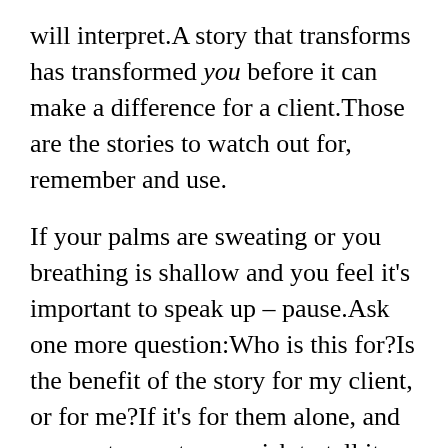will interpret. A story that transforms has transformed you before it can make a difference for a client. Those are the stories to watch out for, remember and use.
If your palms are sweating or you breathing is shallow and you feel it's important to speak up – pause. Ask one more question: Who is this for? Is the benefit of the story for my client, or for me? If it's for them alone, and may put you at some risk to tell it, speak up. If it's mostly for your ego or to get your voice